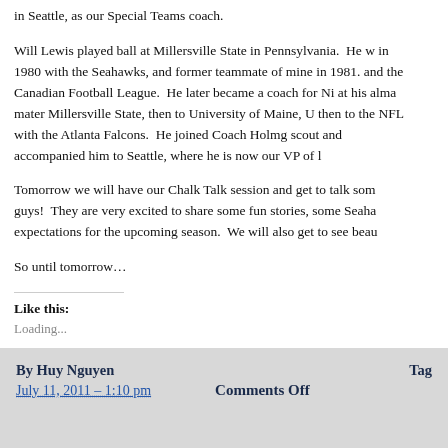in Seattle, as our Special Teams coach.
Will Lewis played ball at Millersville State in Pennsylvania. He w in 1980 with the Seahawks, and former teammate of mine in 1981. and the Canadian Football League. He later became a coach for N at his alma mater Millersville State, then to University of Maine, U then to the NFL with the Atlanta Falcons. He joined Coach Holmg scout and accompanied him to Seattle, where he is now our VP of l
Tomorrow we will have our Chalk Talk session and get to talk som guys! They are very excited to share some fun stories, some Seaha expectations for the upcoming season. We will also get to see beau
So until tomorrow…
Like this:
Loading...
By Huy Nguyen
July 11, 2011 – 1:10 pm
Comments Off
Tag